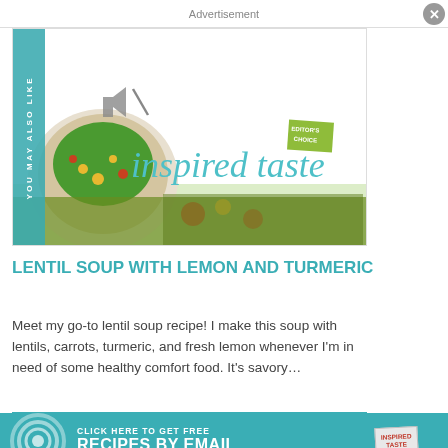Advertisement
[Figure (photo): Lentil soup with lemon and turmeric in a bowl, with YOU MAY ALSO LIKE vertical teal banner and inspired taste logo overlay]
LENTIL SOUP WITH LEMON AND TURMERIC
Meet my go-to lentil soup recipe! I make this soup with lentils, carrots, turmeric, and fresh lemon whenever I'm in need of some healthy comfort food. It's savory…
READ MORE
CLICK HERE TO GET FREE RECIPES BY EMAIL